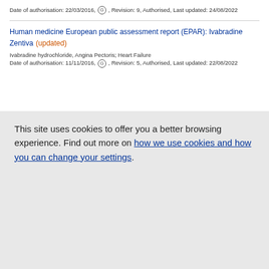Date of authorisation: 22/03/2016, G, Revision: 9, Authorised, Last updated: 24/08/2022
Human medicine European public assessment report (EPAR): Ivabradine Zentiva (updated)
Ivabradine hydrochloride, Angina Pectoris; Heart Failure
Date of authorisation: 11/11/2016, G, Revision: 5, Authorised, Last updated: 22/08/2022
This site uses cookies to offer you a better browsing experience. Find out more on how we use cookies and how you can change your settings.
Accept all cookies
Accept only essential cookies